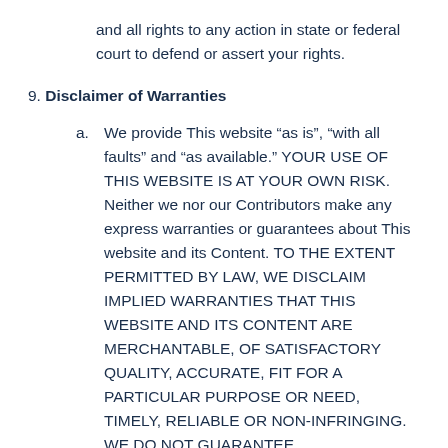and all rights to any action in state or federal court to defend or assert your rights.
9. Disclaimer of Warranties
a. We provide This website “as is”, “with all faults” and “as available.” YOUR USE OF THIS WEBSITE IS AT YOUR OWN RISK. Neither we nor our Contributors make any express warranties or guarantees about This website and its Content. TO THE EXTENT PERMITTED BY LAW, WE DISCLAIM IMPLIED WARRANTIES THAT THIS WEBSITE AND ITS CONTENT ARE MERCHANTABLE, OF SATISFACTORY QUALITY, ACCURATE, FIT FOR A PARTICULAR PURPOSE OR NEED, TIMELY, RELIABLE OR NON-INFRINGING. WE DO NOT GUARANTEE